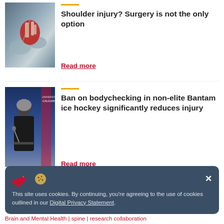[Figure (photo): Close-up photo of hands holding a red anatomical shoulder model with tendons/ligaments visible]
Shoulder injury? Surgery is not the only option
Read more
[Figure (photo): Photo of a woman in a dark jacket speaking at a podium with a University of Calgary banner in the background]
Ban on bodychecking in non-elite Bantam ice hockey significantly reduces injury
Read more
This site uses cookies. By continuing, you're agreeing to the use of cookies outlined in our Digital Privacy Statement.
Brain and Mental Health | spine | research collaboration